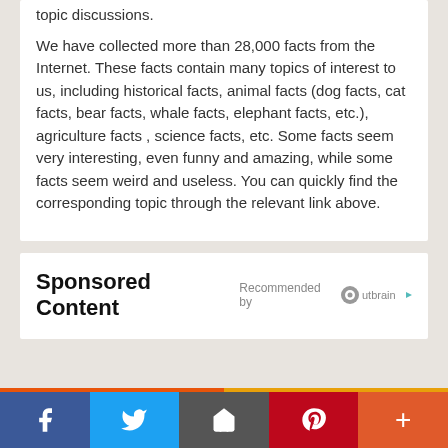topic discussions.
We have collected more than 28,000 facts from the Internet. These facts contain many topics of interest to us, including historical facts, animal facts (dog facts, cat facts, bear facts, whale facts, elephant facts, etc.), agriculture facts , science facts, etc. Some facts seem very interesting, even funny and amazing, while some facts seem weird and useless. You can quickly find the corresponding topic through the relevant link above.
Sponsored Content
Recommended by Outbrain
» Random Geographic Tools
Facebook | Twitter | Home | Pinterest | More